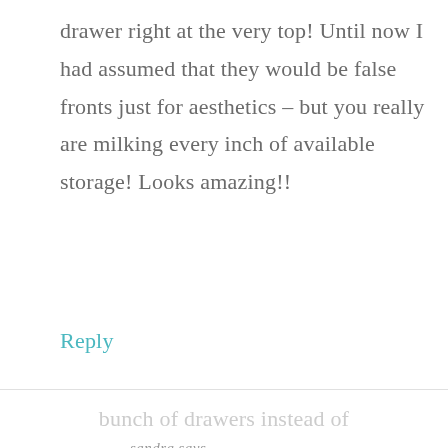drawer right at the very top! Until now I had assumed that they would be false fronts just for aesthetics – but you really are milking every inch of available storage! Looks amazing!!
Reply
sandra says
AUGUST 16, 2016 AT 9:47 AM
That was the purpose of doing a bunch of drawers instead of